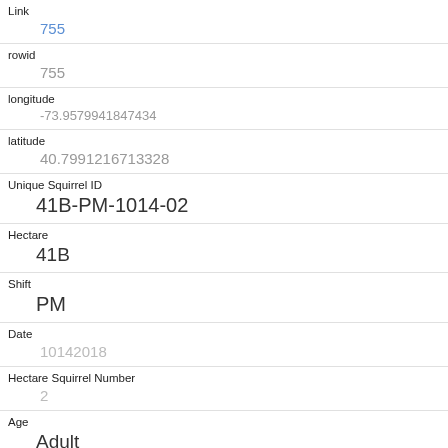| Link | 755 |
| rowid | 755 |
| longitude | -73.9579941847434 |
| latitude | 40.7991216713328 |
| Unique Squirrel ID | 41B-PM-1014-02 |
| Hectare | 41B |
| Shift | PM |
| Date | 10142018 |
| Hectare Squirrel Number | 2 |
| Age | Adult |
| Primary Fur Color |  |